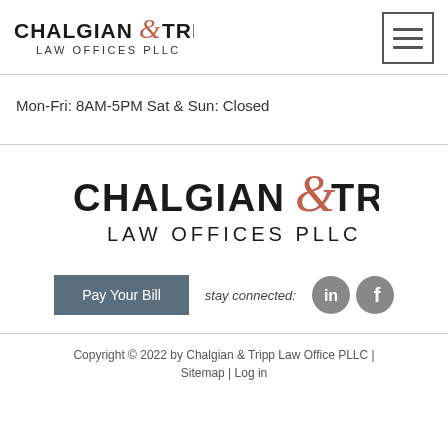[Figure (logo): Chalgian & Tripp Law Offices PLLC logo (small, top-left header)]
[Figure (other): Hamburger menu icon (three horizontal lines in a bordered box, top-right)]
Mon-Fri: 8AM-5PM Sat & Sun: Closed
[Figure (logo): Chalgian & Tripp Law Offices PLLC logo (large, centered in footer area)]
Pay Your Bill   stay connected:  [LinkedIn icon] [Facebook icon]
Copyright © 2022 by Chalgian & Tripp Law Office PLLC | Sitemap | Log in